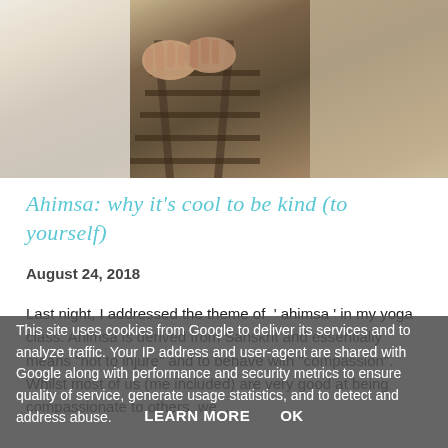[Figure (photo): Cropped photo of two people holding hands near railroad tracks, viewed from above, partial view of their clothing and hands]
Ahimsa: why it's cool to be kind (to yourself)
August 24, 2018
Last night, I addressed the theme of ' ahimsa ' in my yoga class. Ahimsa is derived from Sanskrit and essentially means "not to injure" and to behave with "compassion". Whilst most of us (me included) are very good at being compassionate to others, we ...
This site uses cookies from Google to deliver its services and to analyze traffic. Your IP address and user-agent are shared with Google along with performance and security metrics to ensure quality of service, generate usage statistics, and to detect and address abuse.
LEARN MORE    OK